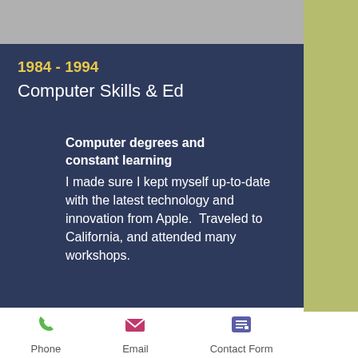1984 - 1994
Computer Skills & Ed
Computer degrees and constant learning
I made sure I kept myself up-to-date with the latest technology and innovation from Apple.  Traveled to California, and attended many workshops.
Phone | Email | Contact Form